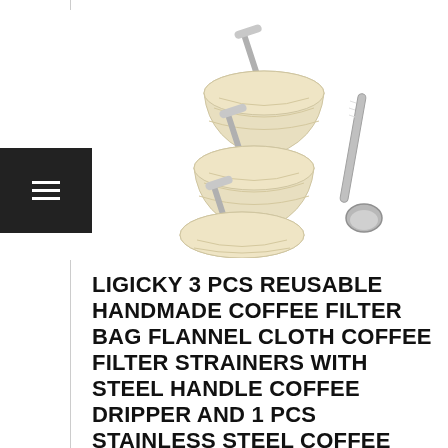[Figure (photo): Three cream/beige flannel cloth coffee filter bags with stainless steel handles, stacked, plus one stainless steel coffee scoop/spoon beside them]
LIGICKY 3 PCS REUSABLE HANDMADE COFFEE FILTER BAG FLANNEL CLOTH COFFEE FILTER STRAINERS WITH STEEL HANDLE COFFEE DRIPPER AND 1 PCS STAINLESS STEEL COFFEE PODS SCOOP FOR HOME OFFICE TRAVEL